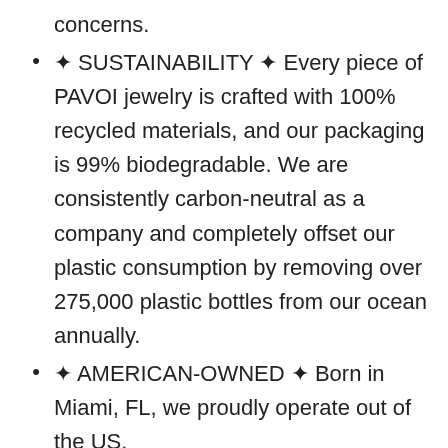concerns.
✦ SUSTAINABILITY ✦ Every piece of PAVOI jewelry is crafted with 100% recycled materials, and our packaging is 99% biodegradable. We are consistently carbon-neutral as a company and completely offset our plastic consumption by removing over 275,000 plastic bottles from our ocean annually.
✦ AMERICAN-OWNED ✦ Born in Miami, FL, we proudly operate out of the US.